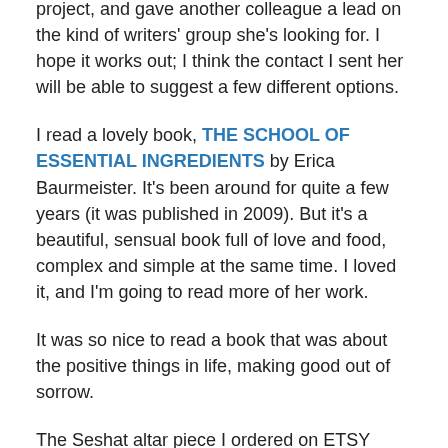project, and gave another colleague a lead on the kind of writers' group she's looking for. I hope it works out; I think the contact I sent her will be able to suggest a few different options.
I read a lovely book, THE SCHOOL OF ESSENTIAL INGREDIENTS by Erica Baurmeister. It's been around for quite a few years (it was published in 2009). But it's a beautiful, sensual book full of love and food, complex and simple at the same time. I loved it, and I'm going to read more of her work.
It was so nice to read a book that was about the positive things in life, making good out of sorrow.
The Seshat altar piece I ordered on ETSY arrived, which is great, because I can consecrate it on Samhain. It's absolutely beautiful. I'm delighted with it.